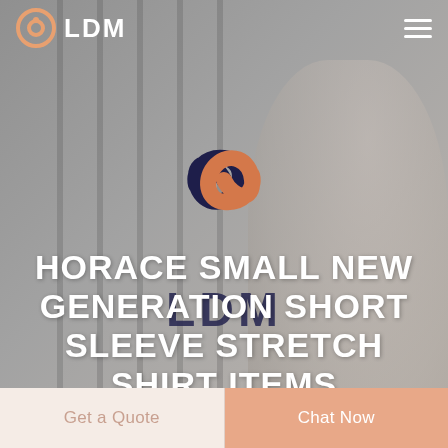[Figure (screenshot): LDM website screenshot showing header with logo, central swirl logo, hero title text, and bottom action bar]
LDM
HORACE SMALL NEW GENERATION SHORT SLEEVE STRETCH SHIRT ITEMS
Home
Get a Quote
Chat Now